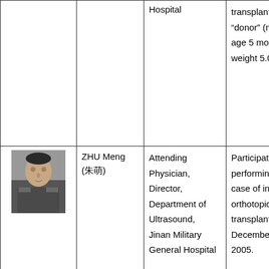| [Photo] | Name | Title/Position | Involvement |
| --- | --- | --- | --- |
|  |  | Hospital | transplant from a "donor" (male, age 5 month, weight 5.0kg). |
| [Photo of ZHU Meng] | ZHU Meng (朱萌) | Attending Physician, Director, Department of Ultrasound, Jinan Military General Hospital | Participated in performing one case of infant orthotopic heart transplantation on December 28, 2005. |
|  |  | Deputy Chief Physician, Children Cardiac | Participated in performing one case of infant orthotopic heart transplantation on |